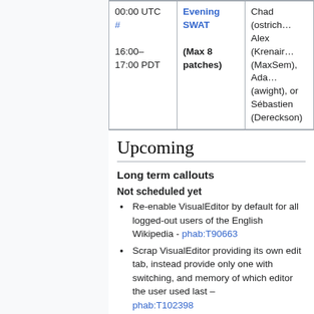| Time | Event | Deployers |
| --- | --- | --- |
| 00:00 UTC #
16:00–17:00 PDT | Evening SWAT
(Max 8 patches) | Chad (ostriches...
Alex (Krenair...
(MaxSem), Adam
(awight), or
Sébastien
(Dereckson) |
Upcoming
Long term callouts
Not scheduled yet
Re-enable VisualEditor by default for all logged-out users of the English Wikipedia - phab:T90663
Scrap VisualEditor providing its own edit tab, instead provide only one with switching, and memory of which editor the user used last – phab:T102398